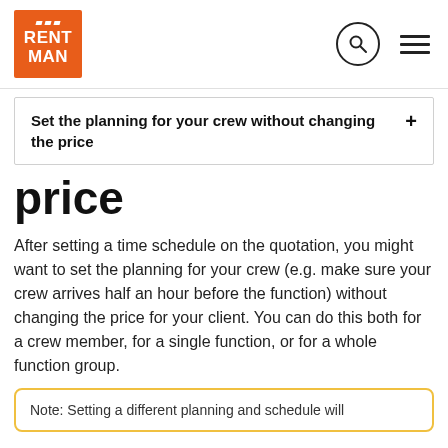RENT MAN
Set the planning for your crew without changing the price +
price
After setting a time schedule on the quotation, you might want to set the planning for your crew (e.g. make sure your crew arrives half an hour before the function) without changing the price for your client. You can do this both for a crew member, for a single function, or for a whole function group.
Note: Setting different planning and schedule will...